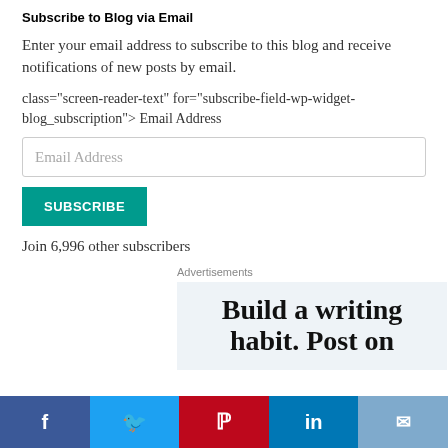Subscribe to Blog via Email
Enter your email address to subscribe to this blog and receive notifications of new posts by email.
class="screen-reader-text" for="subscribe-field-wp-widget-blog_subscription"> Email Address
[Figure (screenshot): Email Address input field (text box)]
[Figure (screenshot): SUBSCRIBE button in teal/green color]
Join 6,996 other subscribers
Advertisements
[Figure (screenshot): Advertisement box with text: Build a writing habit. Post on]
[Figure (infographic): Social sharing bar with Facebook, Twitter, Pinterest, LinkedIn, and Email buttons]